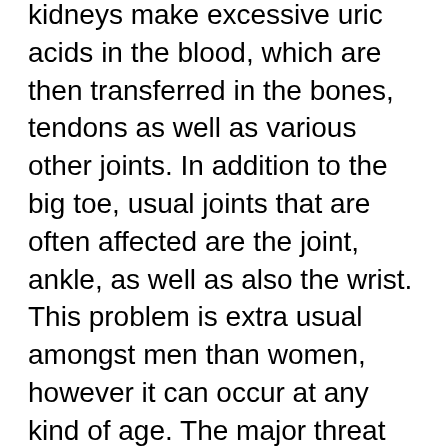kidneys make excessive uric acids in the blood, which are then transferred in the bones, tendons as well as various other joints. In addition to the big toe, usual joints that are often affected are the joint, ankle, as well as also the wrist. This problem is extra usual amongst men than women, however it can occur at any kind of age. The major threat variables for gout are weight problems, alcoholic abuse, smoking cigarettes, high blood pressure, inadequate diet regimen and also consuming habits as well as a family history of the condition.
Gout pain and arthritis are connected since several way of living aspects, such as excess weight, high blood pressure, bad diet